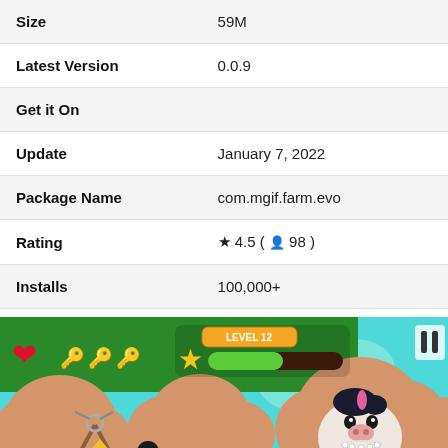| Size | 59M |
| Latest Version | 0.0.9 |
| Get it On |  |
| Update | January 7, 2022 |
| Package Name | com.mgif.farm.evo |
| Rating | ★ 4.5 ( 👤 98 ) |
| Installs | 100,000+ |
[Figure (screenshot): Mobile game screenshot showing a farm/slingshot game at Level 12 with a heart icon, keys, a star, progress bar, catapult, decorative trees, a cow character with black hair, and EXIT sign on a teal background.]